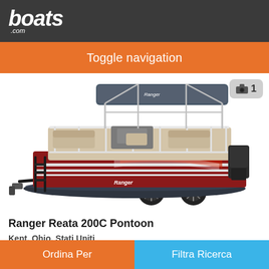boats.com
Toggle navigation
[Figure (photo): A red and white Ranger Reata 200C Pontoon boat on a black trailer with bimini top, photographed on a white background. Camera icon badge with number 1 in the top right corner.]
Ranger Reata 200C Pontoon
Kent, Ohio, Stati Uniti
Ordina Per    Filtra Ricerca